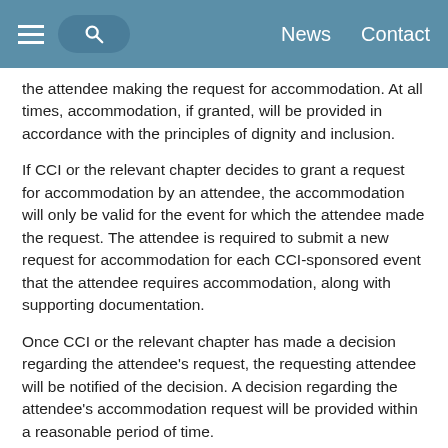News  Contact
the attendee making the request for accommodation. At all times, accommodation, if granted, will be provided in accordance with the principles of dignity and inclusion.
If CCI or the relevant chapter decides to grant a request for accommodation by an attendee, the accommodation will only be valid for the event for which the attendee made the request. The attendee is required to submit a new request for accommodation for each CCI-sponsored event that the attendee requires accommodation, along with supporting documentation.
Once CCI or the relevant chapter has made a decision regarding the attendee's request, the requesting attendee will be notified of the decision. A decision regarding the attendee's accommodation request will be provided within a reasonable period of time.
4. Accommodation Planning
If accommodation has been granted, CCI or the relevant chapter will work with the attendee to implement the accommodation. The accommodation process is a shared responsibility, and everyone involved is expected to work cooperatively, including when